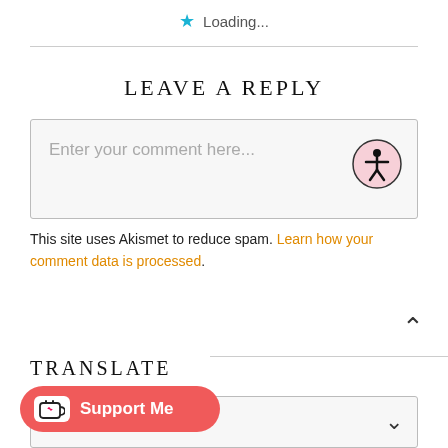Loading...
LEAVE A REPLY
[Figure (screenshot): Comment text area with placeholder text 'Enter your comment here...' and an accessibility icon (person in circle) in the top-right corner]
This site uses Akismet to reduce spam. Learn how your comment data is processed.
TRANSLATE
Select Language
[Figure (illustration): Ko-fi Support Me button with heart-in-cup icon]